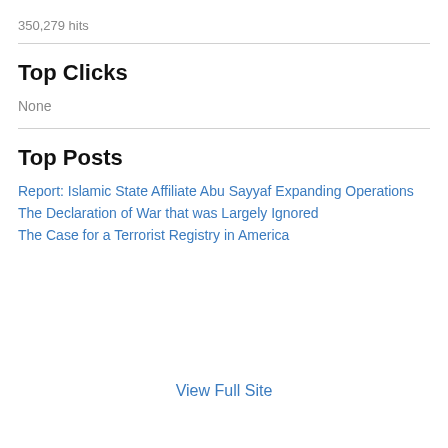350,279 hits
Top Clicks
None
Top Posts
Report: Islamic State Affiliate Abu Sayyaf Expanding Operations
The Declaration of War that was Largely Ignored
The Case for a Terrorist Registry in America
View Full Site